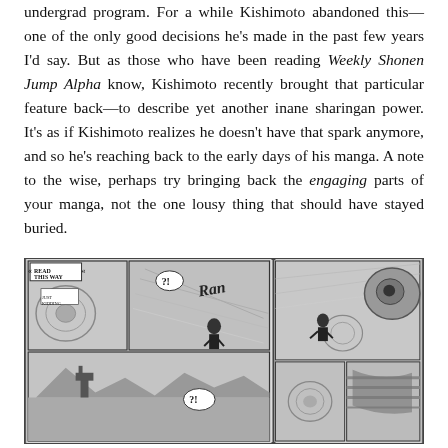undergrad program. For a while Kishimoto abandoned this—one of the only good decisions he's made in the past few years I'd say. But as those who have been reading Weekly Shonen Jump Alpha know, Kishimoto recently brought that particular feature back—to describe yet another inane sharingan power. It's as if Kishimoto realizes he doesn't have that spark anymore, and so he's reaching back to the early days of his manga. A note to the wise, perhaps try bringing back the engaging parts of your manga, not the one lousy thing that should have stayed buried.
[Figure (illustration): Two-panel manga page spread showing ninja characters in action scenes with dynamic motion lines and dramatic artwork from Naruto. Left panel shows multiple sub-panels with characters running and a '?!' speech bubble. Right panel shows a close-up detailed action scene. A 'READ THIS WAY' indicator appears in the top-left.]